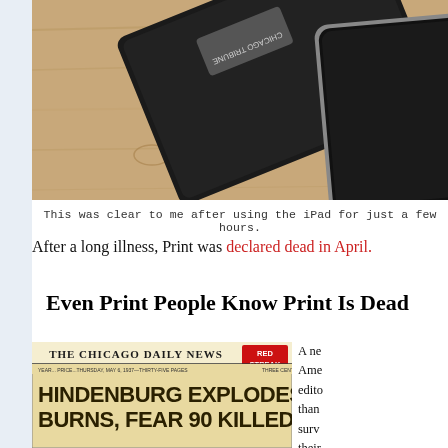[Figure (photo): Photo of a black e-reader/laptop and a tablet device (iPad) lying on a wooden surface, viewed from above at an angle.]
This was clear to me after using the iPad for just a few hours.
After a long illness, Print was declared dead in April.
Even Print People Know Print Is Dead
[Figure (photo): Front page of The Chicago Daily News newspaper with headline 'HINDENBURG EXPLODES, BURNS, FEAR 90 KILLED' and 'RED STREAK' stamp in the top right corner.]
A ne... Ame... edito... than... surv... their...